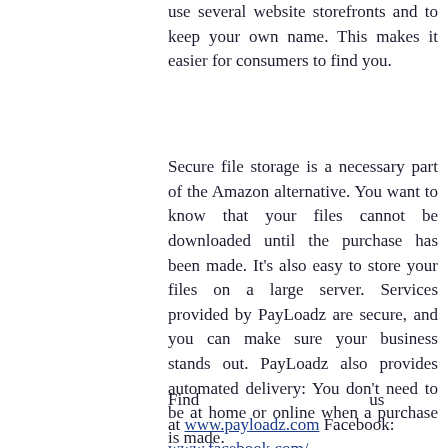PayLoadz system is different. It allows you to use several website storefronts and to keep your own name. This makes it easier for consumers to find you.
Secure file storage is a necessary part of the Amazon alternative. You want to know that your files cannot be downloaded until the purchase has been made. It's also easy to store your files on a large server. Services provided by PayLoadz are secure, and you can make sure your business stands out. PayLoadz also provides automated delivery: You don't need to be at home or online when a purchase is made.
Find us at www.payloadz.com Facebook: www.facebook.com/...